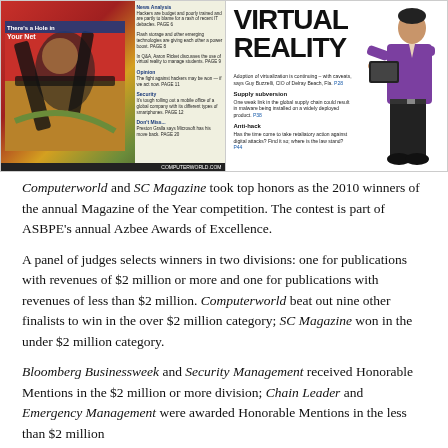[Figure (photo): Two magazine covers side by side: left is Computerworld magazine with abstract art and sidebar text; right is SC Magazine showing 'VIRTUAL REALITY' headline with a man holding a tablet/laptop.]
Computerworld and SC Magazine took top honors as the 2010 winners of the annual Magazine of the Year competition. The contest is part of ASBPE's annual Azbee Awards of Excellence.
A panel of judges selects winners in two divisions: one for publications with revenues of $2 million or more and one for publications with revenues of less than $2 million. Computerworld beat out nine other finalists to win in the over $2 million category; SC Magazine won in the under $2 million category.
Bloomberg Businessweek and Security Management received Honorable Mentions in the $2 million or more division; Chain Leader and Emergency Management were awarded Honorable Mentions in the less than $2 million